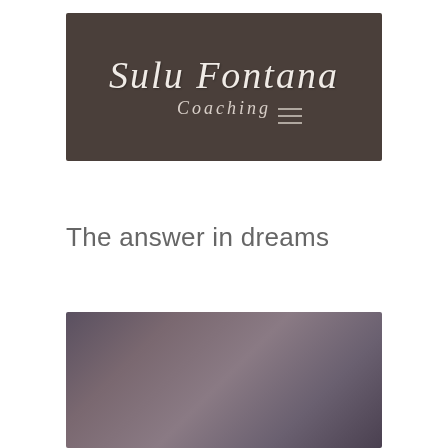[Figure (logo): Sulu Fontana Coaching logo on dark brown background with script/italic typography]
The answer in dreams
[Figure (photo): Blurred dark purple and mauve gradient image, partially visible at bottom of page]